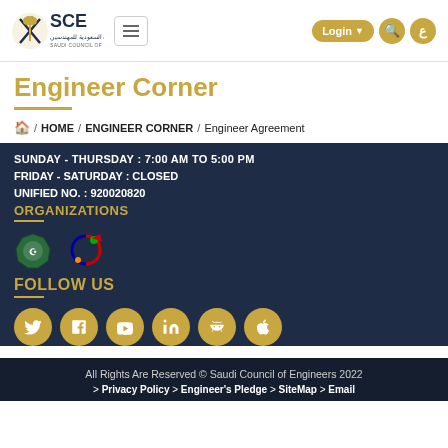[Figure (logo): SCE Saudi Council of Engineers logo with palm tree and swords emblem]
Engineer Corner
HOME / ENGINEER CORNER / Engineer Agreement
SUNDAY - THURSDAY : 7:00 AM TO 5:00 PM
FRIDAY - SATURDAY : CLOSED
UNIFIED NO. : 920020820
ORGANIZATIONS
[Figure (logo): Two organization logos in footer]
FOLLOW US
[Figure (infographic): Social media icons: Twitter, Facebook, YouTube, LinkedIn, Android, Apple]
All Rights Are Reserved © Saudi Council of Engineers 2022 > Privacy Policy > Engineer's Pledge > SiteMap > Email